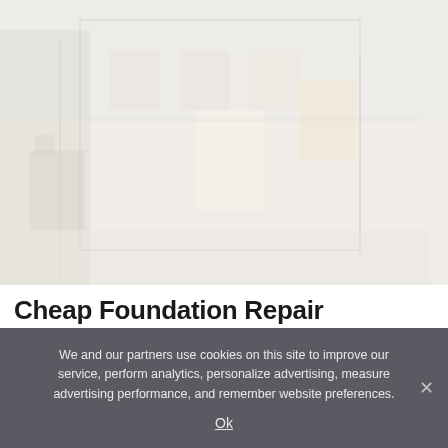[Figure (photo): Faded/light background photo of a construction or renovation site, showing a building or house under repair with equipment and scaffolding visible in muted tones.]
Cheap Foundation Repair Contractors in Ashburn. See Options
We and our partners use cookies on this site to improve our service, perform analytics, personalize advertising, measure advertising performance, and remember website preferences.
Ok